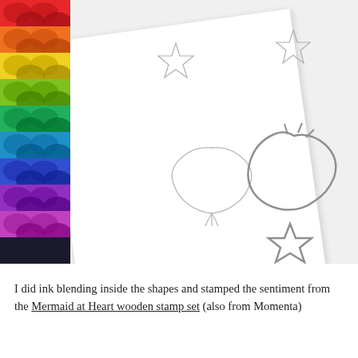[Figure (photo): Craft supplies arranged on a white surface: a white card with embossed star and shell die-cut outlines, a rainbow glitter mermaid scale strip on the left side, and silver metal die-cut shapes (shell, starfish) on the right.]
I did ink blending inside the shapes and stamped the sentiment from the Mermaid at Heart wooden stamp set (also from Momenta) to the shape on the left.